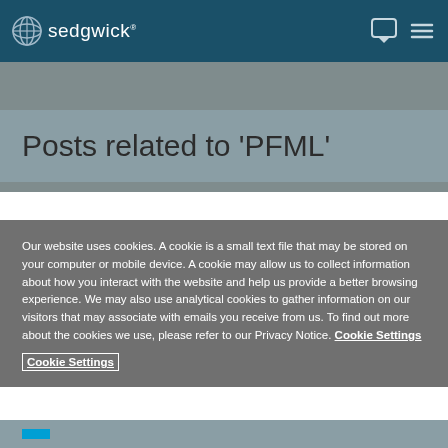sedgwick
Posts related to 'PFML'
Our website uses cookies. A cookie is a small text file that may be stored on your computer or mobile device. A cookie may allow us to collect information about how you interact with the website and help us provide a better browsing experience. We may also use analytical cookies to gather information on our visitors that may associate with emails you receive from us. To find out more about the cookies we use, please refer to our Privacy Notice. Cookie Settings